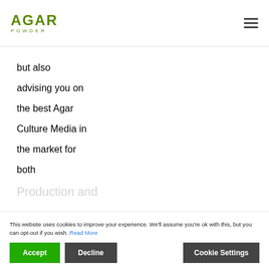AGAR POWDER
but also

advising you on

the best Agar

Culture Media in

the market for

both

Production and
This website uses cookies to improve your experience. We'll assume you're ok with this, but you can opt-out if you wish. Read More
Accept  Decline  Cookie Settings